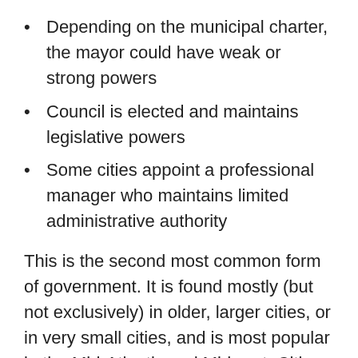Depending on the municipal charter, the mayor could have weak or strong powers
Council is elected and maintains legislative powers
Some cities appoint a professional manager who maintains limited administrative authority
This is the second most common form of government. It is found mostly (but not exclusively) in older, larger cities, or in very small cities, and is most popular in the Mid-Atlantic and Midwest. Cities with variations in the mayor-council form of government are New York, New York; Houston, Texas; Salt